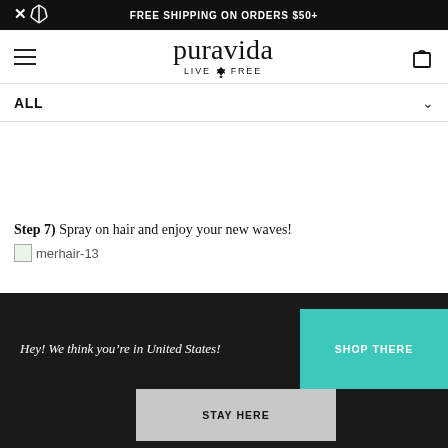FREE SHIPPING ON ORDERS $50+
[Figure (logo): Pura Vida logo with text 'puravida' and 'LIVE FREE' with pineapple icon]
ALL
Step 7) Spray on hair and enjoy your new waves!
[Figure (photo): Broken image placeholder labeled merhair-13]
Hey! We think you're in United States!
SHOP THERE
STAY HERE